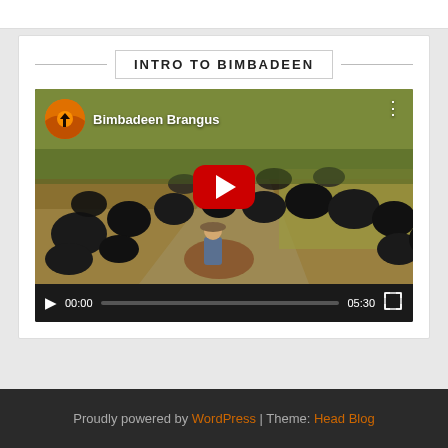INTRO TO BIMBADEEN
[Figure (screenshot): YouTube video player showing 'Bimbadeen Brangus' video with cattle scene thumbnail, play button overlay, and video controls showing 00:00 / 05:30]
Proudly powered by WordPress | Theme: Head Blog